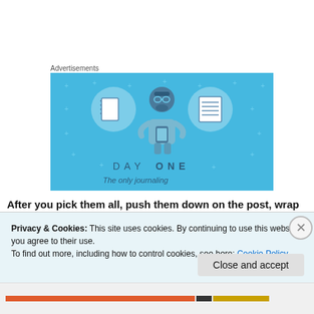Advertisements
[Figure (illustration): Advertisement banner for 'Day One' journaling app. Light blue background with illustrated character holding a phone, flanked by notebook icons. Text reads 'DAY ONE' and 'The only journaling']
After you pick them all, push them down on the post, wrap
Privacy & Cookies: This site uses cookies. By continuing to use this website, you agree to their use.
To find out more, including how to control cookies, see here: Cookie Policy
Close and accept